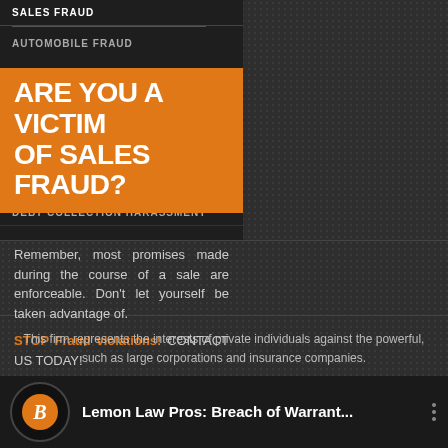SALES FRAUD
AUTOMOBILE FRAUD
ARE YOU A VICTIM OF SALES FRAUD?
DEBT COLLECTION HARASSMENT
Remember, most promises made during the course of a sale are enforceable. Don't let yourself be taken advantage of. STOP Fraud violations! CONTACT US TODAY!
READ MORE »
This firm represents the interests of private individuals against the powerful, such as large corporations and insurance companies. Don't be taken advantage of - Fight back with an experienced attorney who will aggressively represent your interests.
Lemon Law Pros: Breach of Warrant...